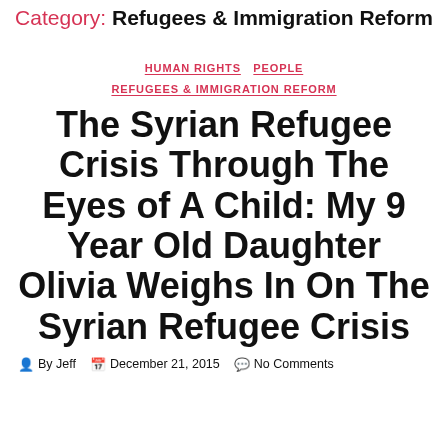Category: Refugees & Immigration Reform
HUMAN RIGHTS   PEOPLE   REFUGEES & IMMIGRATION REFORM
The Syrian Refugee Crisis Through The Eyes of A Child: My 9 Year Old Daughter Olivia Weighs In On The Syrian Refugee Crisis
By Jeff   December 21, 2015   No Comments